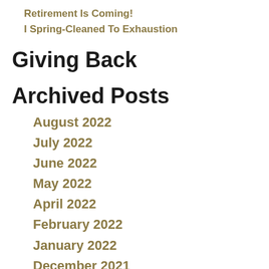Retirement Is Coming!
I Spring-Cleaned To Exhaustion
Giving Back
Archived Posts
August 2022
July 2022
June 2022
May 2022
April 2022
February 2022
January 2022
December 2021
November 2021
October 2021
September 2021